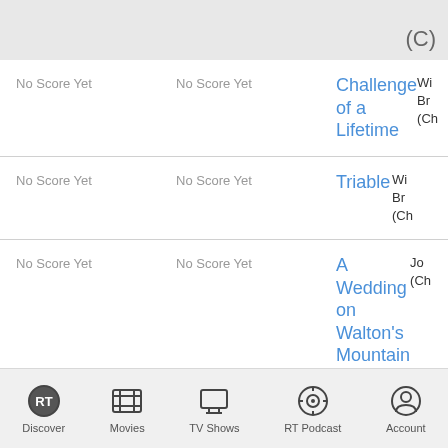| Tomatometer | Audience Score | Title | Cast/Info |
| --- | --- | --- | --- |
| No Score Yet | No Score Yet | Challenge of a Lifetime | Wi
Br
(Ch |
| No Score Yet | No Score Yet | Triable | Wi
Br
(Ch |
| No Score Yet | No Score Yet | A Wedding on Walton's Mountain | Jo
(Ch |
| No Score Yet | No Score Yet | Mother's Day on Walton's Mountain | Jo
(Ch |
Discover | Movies | TV Shows | RT Podcast | Account